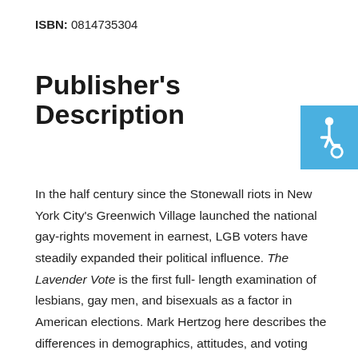ISBN: 0814735304
Publisher's Description
[Figure (illustration): Accessibility icon (wheelchair symbol) in white on a blue square background]
In the half century since the Stonewall riots in New York City's Greenwich Village launched the national gay-rights movement in earnest, LGB voters have steadily expanded their political influence. The Lavender Vote is the first full- length examination of lesbians, gay men, and bisexuals as a factor in American elections. Mark Hertzog here describes the differences in demographics, attitudes, and voting behavior between self-identified bisexuals and homosexuals and the rest of the voting population. He shows that